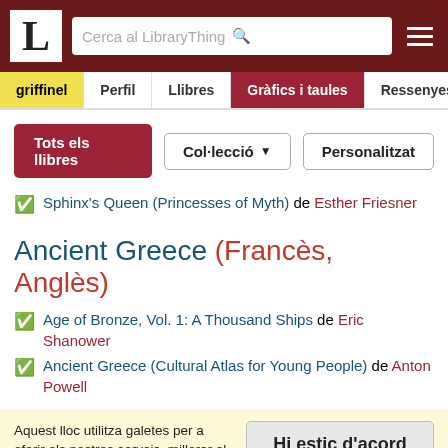L — Cerca al LibraryThing
griffinel | Perfil | Llibres | Gràfics i taules | Ressenyes
Tots els llibres | Col·lecció | Personalitzat
Sphinx's Queen (Princesses of Myth) de Esther Friesner
Ancient Greece (Francès, Anglès)
Age of Bronze, Vol. 1: A Thousand Ships de Eric Shanower
Ancient Greece (Cultural Atlas for Young People) de Anton Powell
Aquest lloc utilitza galetes per a oferir els nostres serveis, millorar el desenvolupament, per a anàlisis i (si no has iniciat la sessió) per a publicitat. Utilitzant LibraryThing acceptes que has llegit i entès els nostres Termes de servei i politica de privacitat. L'ús que facis del lloc i dels seus serveis està subjecte a aquestes politiques i termes.
Hi estic d'acord